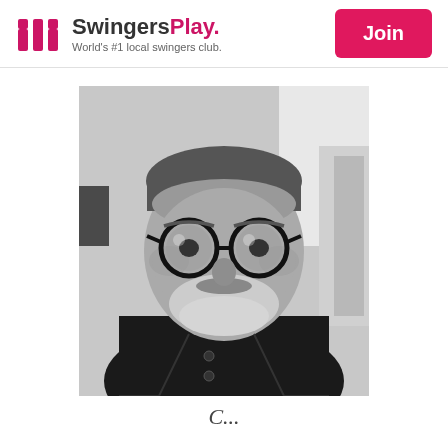SwingersPlay. World's #1 local swingers club. | Join
[Figure (photo): Black and white portrait photo of a middle-aged man with round glasses, salt-and-pepper beard and hair, wearing a dark jacket. Indoor background.]
C...